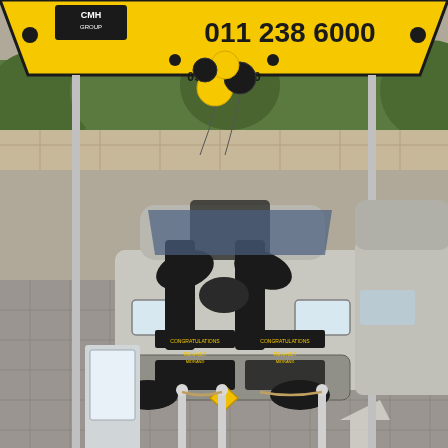[Figure (photo): Outdoor car dealership display showing a silver Renault SUV decorated with a large black ribbon bow and 'Congratulations' banners on the hood, parked under a yellow CMH Group branded event tent with the phone number '011 238 6000' printed on it. Yellow and black balloons are tied to a pole inside the tent. Silver stanchions with ropes frame the vehicle on a paved brick surface. A brochure stand is visible to the left. A silver SUV is partially visible on the right. Background shows green trees and a stone wall.]